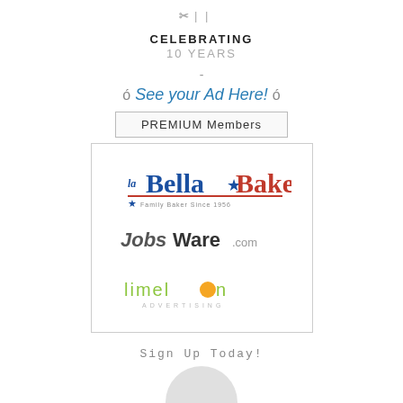[Figure (logo): Scissors/tool icon with CELEBRATING 10 YEARS text below]
ó See your Ad Here! ó
PREMIUM Members
[Figure (logo): La Bella Bakery logo — Family Baker Since 1956]
[Figure (logo): JobsWare.com logo]
[Figure (logo): limelon ADVERTISING logo]
Sign Up Today!